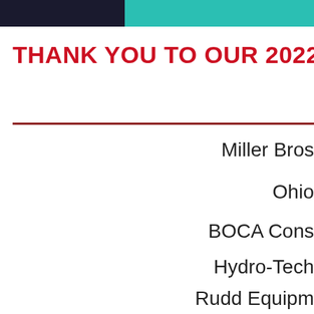[Figure (photo): Top banner with dark left block and teal/green right block]
THANK YOU TO OUR 2022 SPONSORS
Miller Bros
Ohio
BOCA Cons
Hydro-Tech
Rudd Equipm